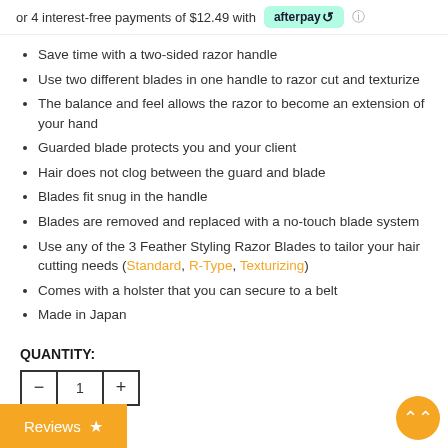or 4 interest-free payments of $12.49 with afterpay
Save time with a two-sided razor handle
Use two different blades in one handle to razor cut and texturize
The balance and feel allows the razor to become an extension of your hand
Guarded blade protects you and your client
Hair does not clog between the guard and blade
Blades fit snug in the handle
Blades are removed and replaced with a no-touch blade system
Use any of the 3 Feather Styling Razor Blades to tailor your hair cutting needs (Standard, R-Type, Texturizing)
Comes with a holster that you can secure to a belt
Made in Japan
QUANTITY: